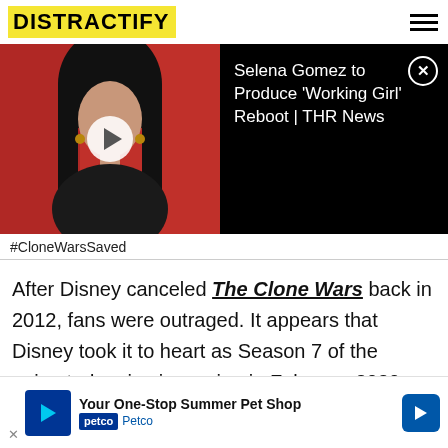DISTRACTIFY
[Figure (screenshot): Video thumbnail showing a woman in black against a red background with play button, and black panel with text: Selena Gomez to Produce 'Working Girl' Reboot | THR News]
#CloneWarsSaved
After Disney canceled The Clone Wars back in 2012, fans were outraged. It appears that Disney took it to heart as Season 7 of the animated series is coming in February 2020. The Jedi Temple Challenge game show is also scheduled for a 2020 release.
All of th... e droppe...
[Figure (screenshot): Petco advertisement: Your One-Stop Summer Pet Shop - Petco]